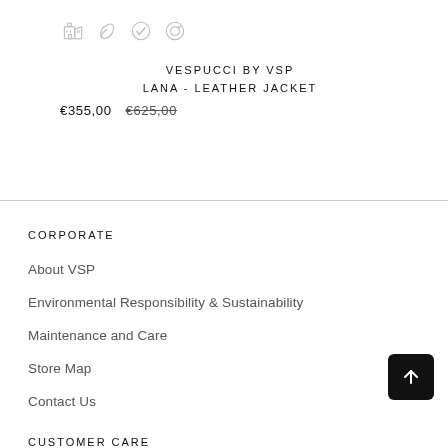[Figure (illustration): Four sustainability/eco icons in a row (outlined style): building/factory, leaf/recycle, checkmark circle, recycling symbol]
VESPUCCI BY VSP
LANA - LEATHER JACKET
€355,00  €625,00 (strikethrough)
CORPORATE
About VSP
Environmental Responsibility & Sustainability
Maintenance and Care
Store Map
Contact Us
CUSTOMER CARE